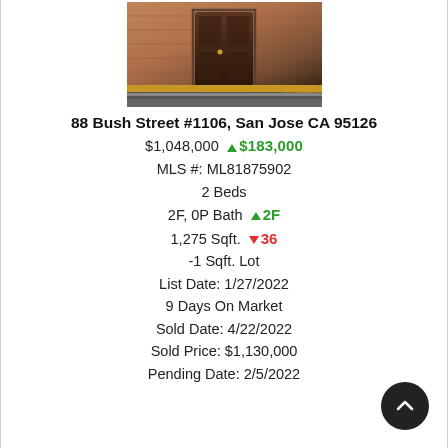[Figure (photo): Exterior photo of 88 Bush Street building entrance with yellow caution tape visible]
88 Bush Street #1106, San Jose CA 95126
$1,048,000  ▲ $183,000
MLS #: ML81875902
2 Beds
2F, 0P Bath  ▲ 2F
1,275 Sqft.  ▼ 36
-1 Sqft. Lot
List Date: 1/27/2022
9 Days On Market
Sold Date: 4/22/2022
Sold Price: $1,130,000
Pending Date: 2/5/2022